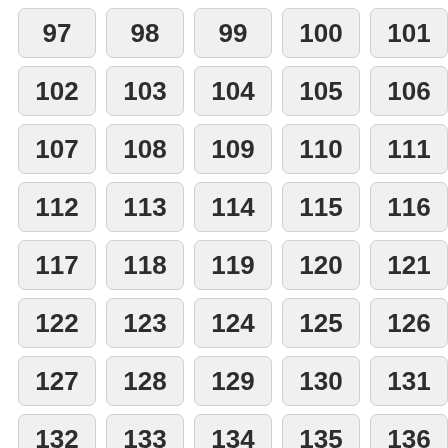[Figure (other): Grid of numbered boxes from 97 to 136 arranged in 8 rows of 5 columns each, with light gray rounded rectangle backgrounds and bold dark numbers.]